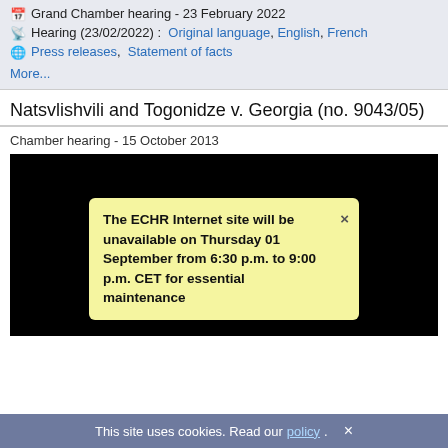Grand Chamber hearing - 23 February 2022
Hearing (23/02/2022) : Original language, English, French
Press releases, Statement of facts
More...
Natsvlishvili and Togonidze v. Georgia (no. 9043/05)
Chamber hearing - 15 October 2013
[Figure (screenshot): Black video player area with a yellow notification tooltip reading: The ECHR Internet site will be unavailable on Thursday 01 September from 6:30 p.m. to 9:00 p.m. CET for essential maintenance]
This site uses cookies. Read our policy.